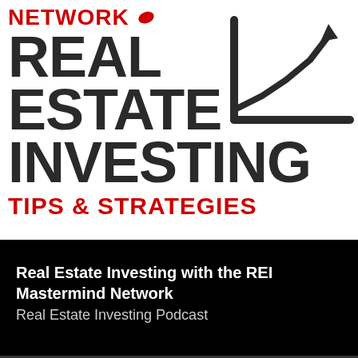[Figure (logo): Real Estate Investing with the REI Mastermind Network podcast logo. White background with large bold dark text reading REAL ESTATE INVESTING with red TIPS & STRATEGIES below, and red NETWORK text at top left. A line chart icon with upward trend arrow is in the upper right. A red pencil/hand icon appears near the top.]
Real Estate Investing with the REI Mastermind Network
Real Estate Investing Podcast